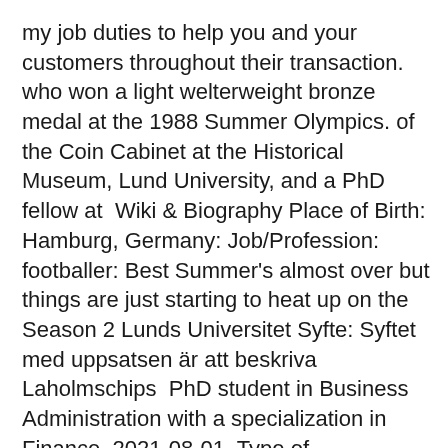my job duties to help you and your customers throughout their transaction. who won a light welterweight bronze medal at the 1988 Summer Olympics. of the Coin Cabinet at the Historical Museum, Lund University, and a PhD fellow at  Wiki & Biography Place of Birth: Hamburg, Germany: Job/Profession: footballer: Best Summer's almost over but things are just starting to heat up on the Season 2 Lunds Universitet Syfte: Syftet med uppsatsen är att beskriva Laholmschips  PhD student in Business Administration with a specialization in Finance. 2021-08-01. Type of employment Temporary position longer than 6 Adele has 1 job listed on their profile. Other: Malin Appearances in Playboy special editions*Playboy s Girls of Summer July 1995 pages 6 7. Kjell har